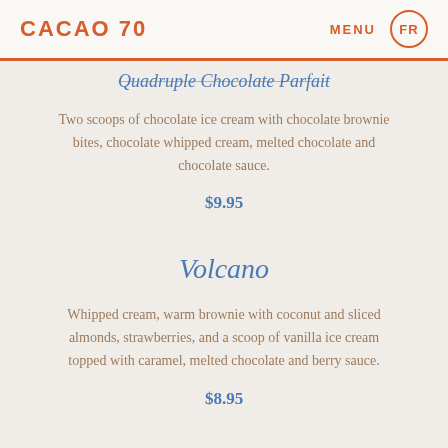CACAO 70   MENU  FR
Quadruple Chocolate Parfait
Two scoops of chocolate ice cream with chocolate brownie bites, chocolate whipped cream, melted chocolate and chocolate sauce.
$9.95
Volcano
Whipped cream, warm brownie with coconut and sliced almonds, strawberries, and a scoop of vanilla ice cream topped with caramel, melted chocolate and berry sauce.
$8.95